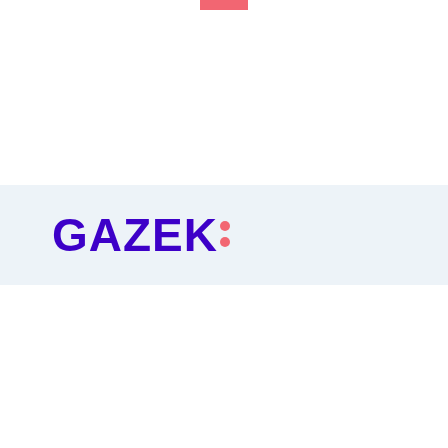[Figure (logo): GAZEK logo with two pink dots as colon, purple bold text on light blue banner background, with small pink rectangle accent at top center]
GAZEK: